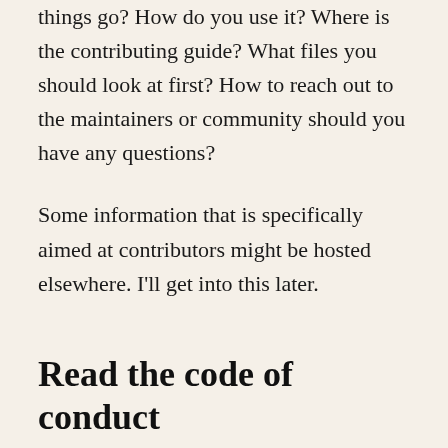things go? How do you use it? Where is the contributing guide? What files you should look at first? How to reach out to the maintainers or community should you have any questions?
Some information that is specifically aimed at contributors might be hosted elsewhere. I'll get into this later.
Read the code of conduct
A code of conduct establishes expectations for behavior for a project's participants.1 In a code of